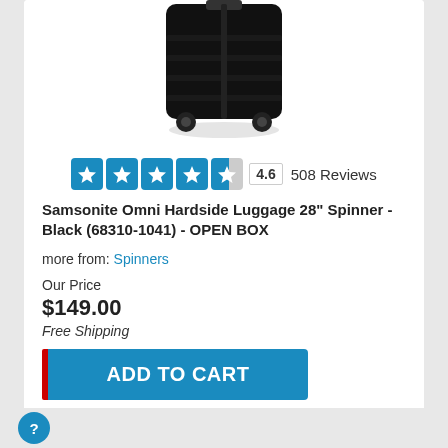[Figure (photo): Black Samsonite hardside spinner luggage, top portion visible, on white background]
4.6  508 Reviews
Samsonite Omni Hardside Luggage 28" Spinner - Black (68310-1041) - OPEN BOX
more from: Spinners
Our Price
$149.00
Free Shipping
ADD TO CART